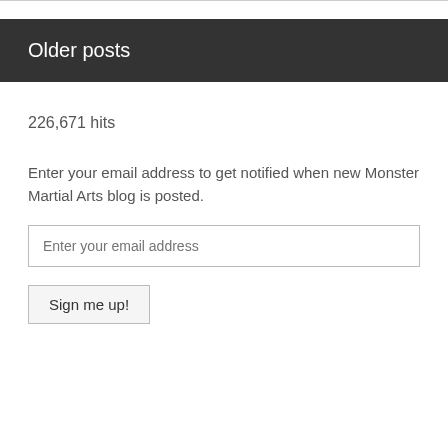Older posts
226,671 hits
Enter your email address to get notified when new Monster Martial Arts blog is posted.
Enter your email address
Sign me up!